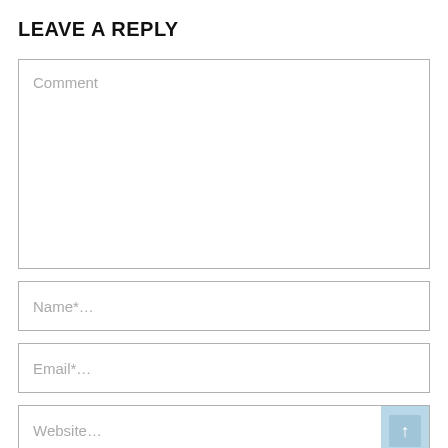LEAVE A REPLY
Comment
Name*...
Email*...
Website...